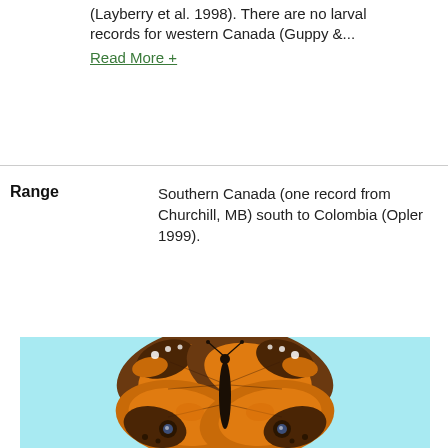(Layberry et al. 1998). There are no larval records for western Canada (Guppy &...
Read More +
Range
Southern Canada (one record from Churchill, MB) south to Colombia (Opler 1999).
[Figure (photo): Photograph of a butterfly (American Lady / Painted Lady) specimen pinned and spread, showing orange and brown wing patterns with eye spots on hindwings, displayed against a light blue background.]